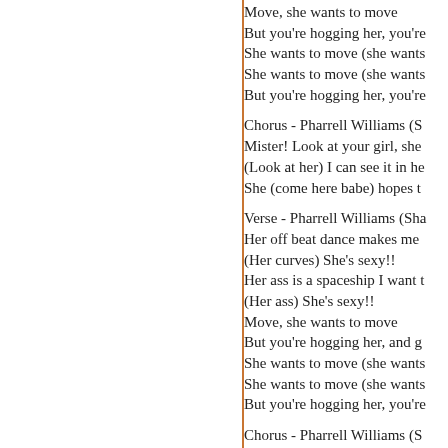Move, she wants to move
But you're hogging her, you're
She wants to move (she wants
She wants to move (she wants
But you're hogging her, you're
Chorus - Pharrell Williams (S
Mister! Look at your girl, she
(Look at her) I can see it in he
She (come here babe) hopes t
Verse - Pharrell Williams (Sha
Her off beat dance makes me
(Her curves) She's sexy!!
Her ass is a spaceship I want t
(Her ass) She's sexy!!
Move, she wants to move
But you're hogging her, and g
She wants to move (she wants
She wants to move (she wants
But you're hogging her, you're
Chorus - Pharrell Williams (S
Mister! Look at your girl, she
(I know you love it girl) I ca